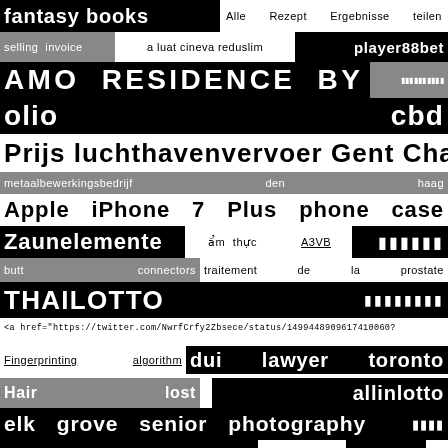fantasy books
Alle Rezept Ergebnisse teilen
selling invoice
a luat cineva reduslim
player88bet
AMO RESIDENCE BY UOL
olio
cbd
Prijs luchthavenvervoer Gent Charleroi
metaalbewerkingsbedrijf den haag
Apple iPhone 7 Plus phone case
Zaunelemente
ẩm thực
A3VB
butt connectors
traitement de la prostate
THAILOTTO
<a href="https://twitter.com/NwrfCrfy2Zbsece/status/1499448909617410060?
Fingerprinting algorithm
dui lawyer toronto
Hair
lost
allinlotto
elk grove senior photography
sushi baden baden
togel sdy
blue bottle flies
تور لحظه آخری ایروان
access control software
lindyverse
<a href="https://twitter.com/Daniil_Semencov/status/149992639321